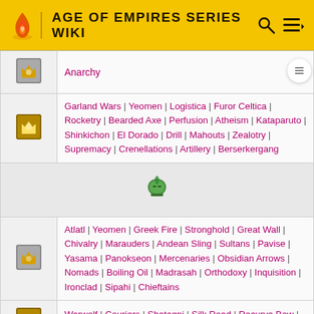AGE OF EMPIRES SERIES WIKI
| Icon | Technologies |
| --- | --- |
| [crown icon] | Anarchy |
| [crown icon] | Garland Wars | Yeomen | Logistica | Furor Celtica | Rocketry | Bearded Axe | Perfusion | Atheism | Kataparuto | Shinkichon | El Dorado | Drill | Mahouts | Zealotry | Supremacy | Crenellations | Artillery | Berserkergang |
| [helmet icon] |  |
| [crown icon] | Atlatl | Yeomen | Greek Fire | Stronghold | Great Wall | Chivalry | Marauders | Andean Sling | Sultans | Pavise | Yasama | Panokseon | Mercenaries | Obsidian Arrows | Nomads | Boiling Oil | Madrasah | Orthodoxy | Inquisition | Ironclad | Sipahi | Chieftains |
| [crown icon] | Warwolf | Couriers | Shatagni | Silk Road | Recurve Bow | Druzhina |